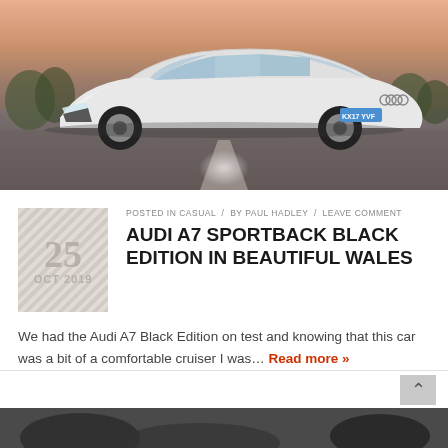[Figure (photo): White Audi A7 Sportback parked on a road at dusk, front three-quarter view, UK registration plate KX17 YVF, trees in background, pink/purple sky]
POSTED IN CASUAL / BY PAUL HADLEY / LEAVE COMMENT
AUDI A7 SPORTBACK BLACK EDITION IN BEAUTIFUL WALES
We had the Audi A7 Black Edition on test and knowing that this car was a bit of a comfortable cruiser I was… Read more »
[Figure (photo): Partial view of another article's photograph at the bottom of the page (black and white or dark tones)]